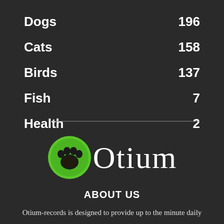Dogs  196
Cats  158
Birds  137
Fish  7
Health  2
[Figure (logo): Otium logo with green paw print circle and stylized text 'Otium' in white serif font]
ABOUT US
Otium-records is designed to provide up to the minute daily